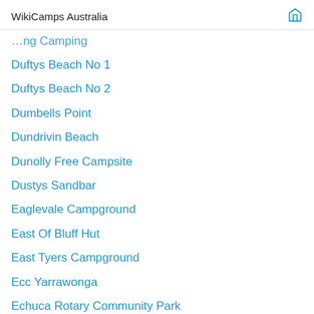WikiCamps Australia
Duftys Beach No 1
Duftys Beach No 2
Dumbells Point
Dundrivin Beach
Dunolly Free Campsite
Dustys Sandbar
Eaglevale Campground
East Of Bluff Hut
East Tyers Campground
Ecc Yarrawonga
Echuca Rotary Community Park